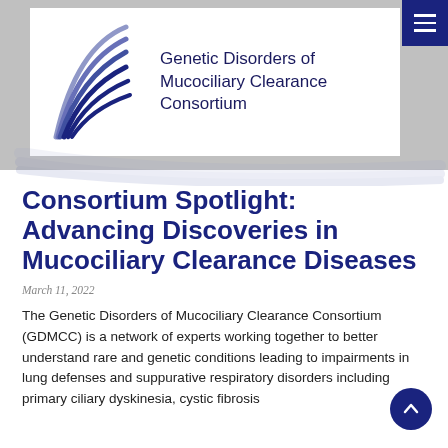[Figure (logo): Genetic Disorders of Mucociliary Clearance Consortium logo with stylized blue sweeping lines and organization name text]
Consortium Spotlight: Advancing Discoveries in Mucociliary Clearance Diseases
March 11, 2022
The Genetic Disorders of Mucociliary Clearance Consortium (GDMCC) is a network of experts working together to better understand rare and genetic conditions leading to impairments in lung defenses and suppurative respiratory disorders including primary ciliary dyskinesia, cystic fibrosis